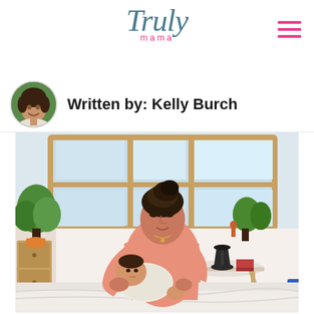Truly mama
Written by: Kelly Burch
[Figure (photo): A woman with dark hair in a bun, wearing a pink t-shirt, sitting on a bed and holding/nursing a newborn baby. The background shows a bright room with large wooden-framed windows, green plants, and Scandinavian-style furniture including a round white table with a black lamp.]